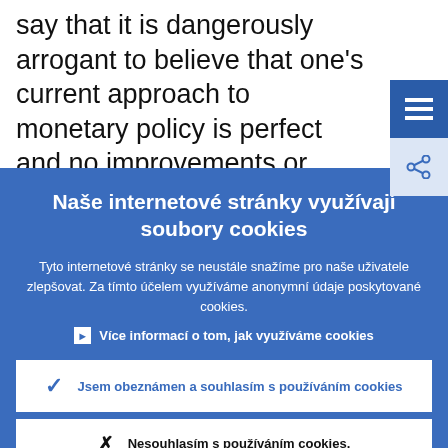say that it is dangerously arrogant to believe that one's current approach to monetary policy is perfect and no improvements or changes will ever be needed. Certainly,
Naše internetové stránky využívají soubory cookies
Tyto internetové stránky se neustále snažíme pro naše uživatele zlepšovat. Za tímto účelem využíváme anonymní údaje poskytované cookies.
Více informací o tom, jak využíváme cookies
Jsem obeznámen a souhlasím s používáním cookies
Nesouhlasím s používáním cookies.